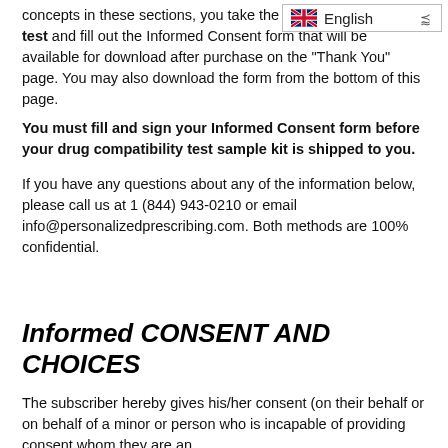concepts in these sections, you take the drug compatibility test and fill out the Informed Consent form that will be available for download after purchase on the “Thank You” page. You may also download the form from the bottom of this page.
You must fill and sign your Informed Consent form before your drug compatibility test sample kit is shipped to you.
If you have any questions about any of the information below, please call us at 1 (844) 943-0210 or email info@personalizedprescribing.com. Both methods are 100% confidential.
Informed CONSENT AND CHOICES
The subscriber hereby gives his/her consent (on their behalf or on behalf of a minor or person who is incapable of providing consent whom they are an